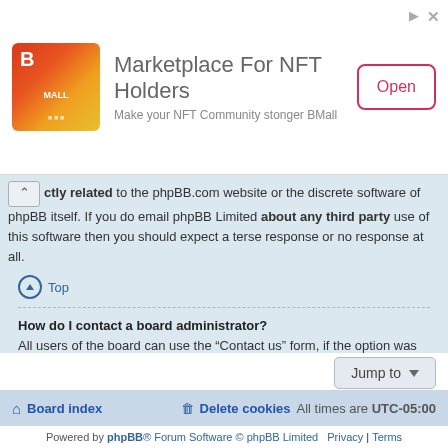[Figure (other): Advertisement banner for BMall NFT marketplace with logo, title 'Marketplace For NFT Holders', subtitle 'Make your NFT Community stonger BMall', and an 'Open' button]
...ctly related to the phpBB.com website or the discrete software of phpBB itself. If you do email phpBB Limited about any third party use of this software then you should expect a terse response or no response at all.
Top
How do I contact a board administrator?
All users of the board can use the “Contact us” form, if the option was enabled by the board administrator.
Members of the board can also use the “The team” link.
Top
Board index | Delete cookies | All times are UTC-05:00
Powered by phpBB® Forum Software © phpBB Limited | Privacy | Terms